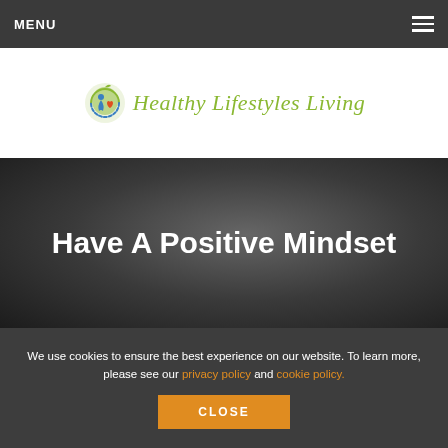MENU
[Figure (logo): Healthy Lifestyles Living logo with a circular icon featuring a blue and green figure and heart, followed by the italic green text 'Healthy Lifestyles Living']
Have A Positive Mindset
We use cookies to ensure the best experience on our website. To learn more, please see our privacy policy and cookie policy.
CLOSE